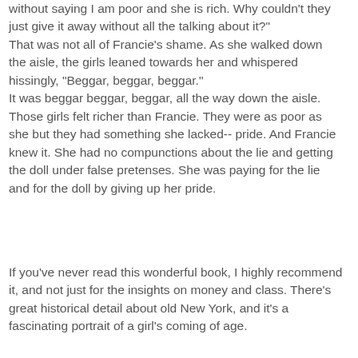without saying I am poor and she is rich. Why couldn't they just give it away without all the talking about it?"
That was not all of Francie's shame. As she walked down the aisle, the girls leaned towards her and whispered hissingly, "Beggar, beggar, beggar."
It was beggar beggar, beggar, all the way down the aisle. Those girls felt richer than Francie. They were as poor as she but they had something she lacked-- pride. And Francie knew it. She had no compunctions about the lie and getting the doll under false pretenses. She was paying for the lie and for the doll by giving up her pride.
If you've never read this wonderful book, I highly recommend it, and not just for the insights on money and class. There's great historical detail about old New York, and it's a fascinating portrait of a girl's coming of age.